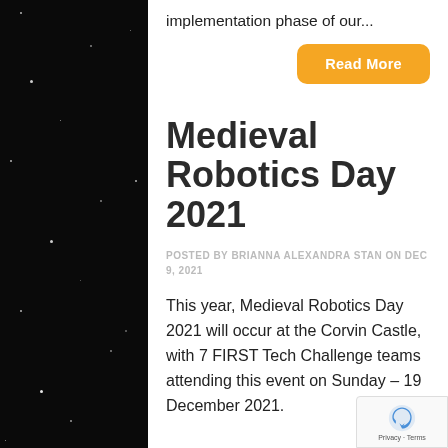implementation phase of our...
Read More
Medieval Robotics Day 2021
POSTED BY BRIANNA ALEXANDRA STAN ON DEC 9, 2021
This year, Medieval Robotics Day 2021 will occur at the Corvin Castle, with 7 FIRST Tech Challenge teams attending this event on Sunday – 19 December 2021.